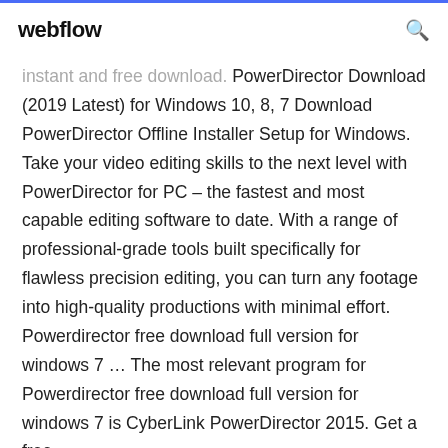webflow
instant and free download. PowerDirector Download (2019 Latest) for Windows 10, 8, 7 Download PowerDirector Offline Installer Setup for Windows. Take your video editing skills to the next level with PowerDirector for PC – the fastest and most capable editing software to date. With a range of professional-grade tools built specifically for flawless precision editing, you can turn any footage into high-quality productions with minimal effort. Powerdirector free download full version for windows 7 ... The most relevant program for Powerdirector free download full version for windows 7 is CyberLink PowerDirector 2015. Get a free